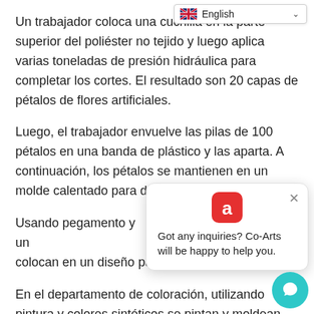Un trabajador coloca una cuchilla en la parte superior del poliéster no tejido y luego aplica varias toneladas de presión hidráulica para completar los cortes. El resultado son 20 capas de pétalos de flores artificiales.
Luego, el trabajador envuelve las pilas de 100 pétalos en una banda de plástico y las aparta. A continuación, los pétalos se mantienen en un molde calentado para dar textura a la tela.
Usando pegamento y un... colocan en un diseño pa...
En el departamento de coloración, utilizando pintura y colores sintéticos se pintan y moldean los pétalos.
El objetivo no es solo hacer que las plantas artificiale...
[Figure (screenshot): Language selector dropdown showing English with UK flag icon and a chat popup saying 'Got any inquiries? Co-Arts will be happy to help you.' with a red app icon, and a teal chat bubble button in the bottom right corner.]